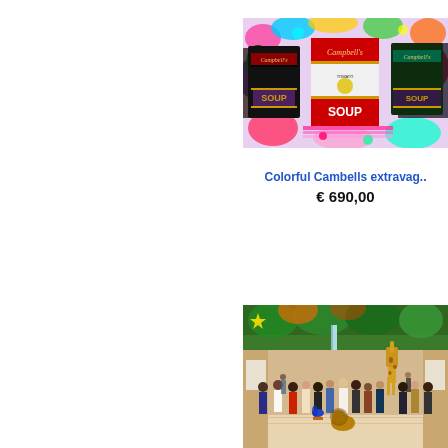[Figure (illustration): Colorful pop-art style painting of Campbell's soup cans with vibrant splattered paint background in multiple colors]
Colorful Cambells extravag..
€ 690,00
[Figure (photo): Large group of people standing in an ornate indoor mall or atrium with tropical greenery, decorative ceiling, and a giraffe visible among the crowd]